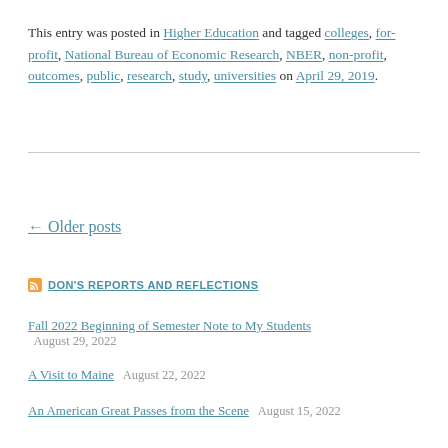This entry was posted in Higher Education and tagged colleges, for-profit, National Bureau of Economic Research, NBER, non-profit, outcomes, public, research, study, universities on April 29, 2019.
← Older posts
DON'S REPORTS AND REFLECTIONS
Fall 2022 Beginning of Semester Note to My Students — August 29, 2022
A Visit to Maine — August 22, 2022
An American Great Passes from the Scene — August 15, 2022